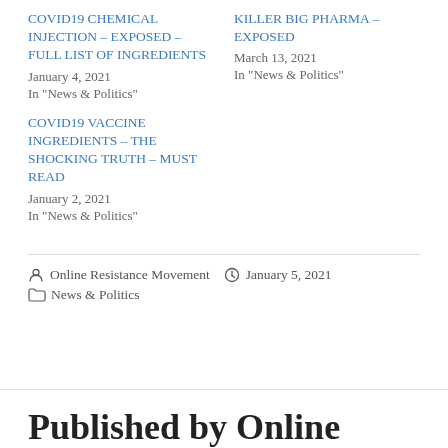COVID19 CHEMICAL INJECTION – EXPOSED – FULL LIST OF INGREDIENTS
January 4, 2021
In "News & Politics"
KILLER BIG PHARMA – EXPOSED
March 13, 2021
In "News & Politics"
COVID19 VACCINE INGREDIENTS – THE SHOCKING TRUTH – MUST READ
January 2, 2021
In "News & Politics"
Online Resistance Movement   January 5, 2021
News & Politics
Published by Online